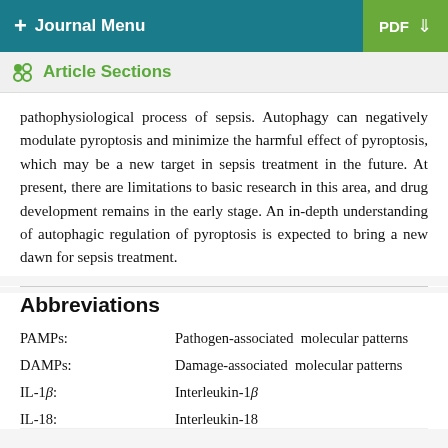+ Journal Menu   PDF ↓
Article Sections
pathophysiological process of sepsis. Autophagy can negatively modulate pyroptosis and minimize the harmful effect of pyroptosis, which may be a new target in sepsis treatment in the future. At present, there are limitations to basic research in this area, and drug development remains in the early stage. An in-depth understanding of autophagic regulation of pyroptosis is expected to bring a new dawn for sepsis treatment.
Abbreviations
| Abbreviation | Definition |
| --- | --- |
| PAMPs: | Pathogen-associated molecular patterns |
| DAMPs: | Damage-associated molecular patterns |
| IL-1β: | Interleukin-1β |
| IL-18: | Interleukin-18 |